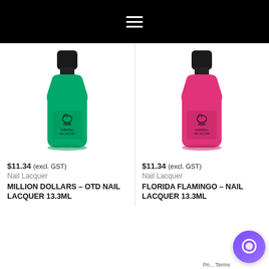≡ (hamburger menu icon)
[Figure (photo): Green nail polish bottle with black cap, INM brand, OuttheDoor nail lacquer, 13.3ml]
$11.34 (excl. GST)
Nail Lacquer
MILLION DOLLARS – OTD NAIL LACQUER 13.3ML
[Figure (photo): Pink/hot pink nail polish bottle with black cap, INM brand, OuttheDoor nail lacquer, 13.3ml]
$11.34 (excl. GST)
Nail Lacquer
FLORIDA FLAMINGO – NAIL LACQUER 13.3ML